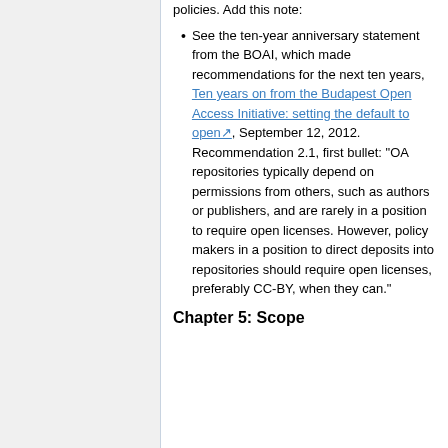policies. Add this note:
See the ten-year anniversary statement from the BOAI, which made recommendations for the next ten years, Ten years on from the Budapest Open Access Initiative: setting the default to open, September 12, 2012. Recommendation 2.1, first bullet: "OA repositories typically depend on permissions from others, such as authors or publishers, and are rarely in a position to require open licenses. However, policy makers in a position to direct deposits into repositories should require open licenses, preferably CC-BY, when they can."
Chapter 5: Scope